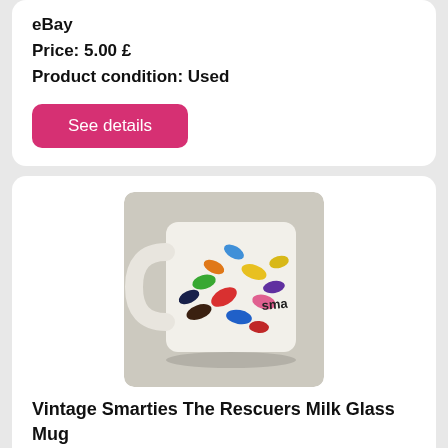eBay
Price: 5.00 £
Product condition: Used
See details
[Figure (photo): A white ceramic mug decorated with colorful Smarties/jellybeans in various colors (red, yellow, green, blue, dark brown, pink) scattered around the mug, with partially visible text 'sma' on the side. The mug is photographed against a light background.]
Vintage Smarties The Rescuers Milk Glass Mug
Vintage smarties the rescuers milk glass